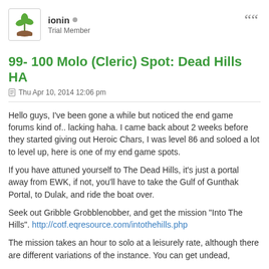ionin • Trial Member
99-100 Molo (Cleric) Spot: Dead Hills HA
Thu Apr 10, 2014 12:06 pm
Hello guys, I've been gone a while but noticed the end game forums kind of.. lacking haha. I came back about 2 weeks before they started giving out Heroic Chars, I was level 86 and soloed a lot to level up, here is one of my end game spots.
If you have attuned yourself to The Dead Hills, it's just a portal away from EWK, if not, you'll have to take the Gulf of Gunthak Portal, to Dulak, and ride the boat over.
Seek out Gribble Grobblenobber, and get the mission "Into The Hills". http://cotf.eqresource.com/intothehills.php
The mission takes an hour to solo at a leisurely rate, although there are different variations of the instance. You can get undead, giants, and other enemies. The great thing about this mission is that